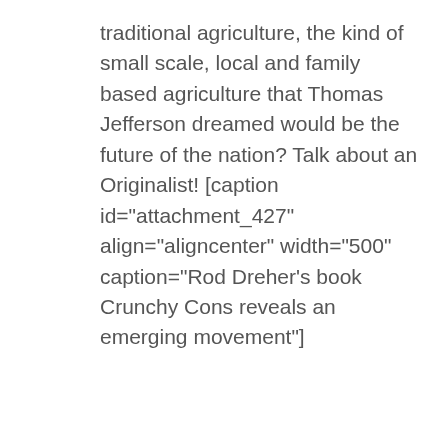traditional agriculture, the kind of small scale, local and family based agriculture that Thomas Jefferson dreamed would be the future of the nation? Talk about an Originalist! [caption id="attachment_427" align="aligncenter" width="500" caption="Rod Dreher's book Crunchy Cons reveals an emerging movement"]